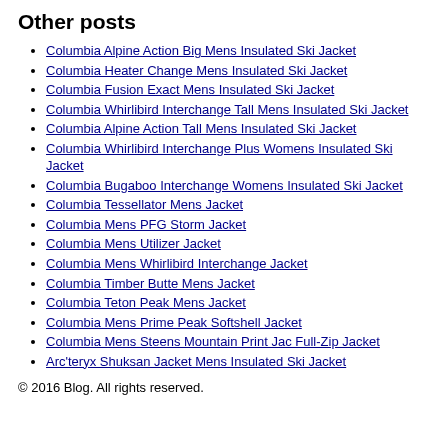Other posts
Columbia Alpine Action Big Mens Insulated Ski Jacket
Columbia Heater Change Mens Insulated Ski Jacket
Columbia Fusion Exact Mens Insulated Ski Jacket
Columbia Whirlibird Interchange Tall Mens Insulated Ski Jacket
Columbia Alpine Action Tall Mens Insulated Ski Jacket
Columbia Whirlibird Interchange Plus Womens Insulated Ski Jacket
Columbia Bugaboo Interchange Womens Insulated Ski Jacket
Columbia Tessellator Mens Jacket
Columbia Mens PFG Storm Jacket
Columbia Mens Utilizer Jacket
Columbia Mens Whirlibird Interchange Jacket
Columbia Timber Butte Mens Jacket
Columbia Teton Peak Mens Jacket
Columbia Mens Prime Peak Softshell Jacket
Columbia Mens Steens Mountain Print Jac Full-Zip Jacket
Arc'teryx Shuksan Jacket Mens Insulated Ski Jacket
© 2016 Blog. All rights reserved.